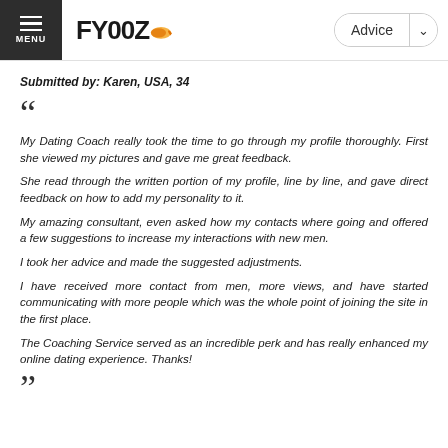FYOOZ | Advice
Submitted by: Karen, USA, 34
My Dating Coach really took the time to go through my profile thoroughly. First she viewed my pictures and gave me great feedback.

She read through the written portion of my profile, line by line, and gave direct feedback on how to add my personality to it.

My amazing consultant, even asked how my contacts where going and offered a few suggestions to increase my interactions with new men.

I took her advice and made the suggested adjustments.

I have received more contact from men, more views, and have started communicating with more people which was the whole point of joining the site in the first place.

The Coaching Service served as an incredible perk and has really enhanced my online dating experience. Thanks!